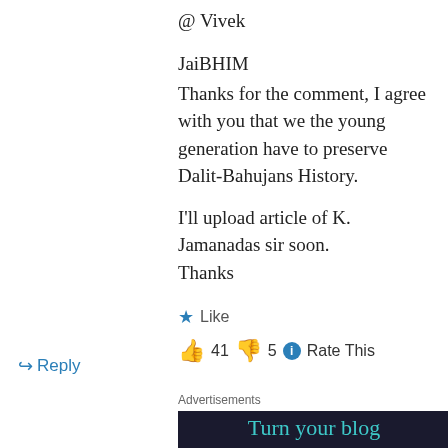@ Vivek
JaiBHIM
Thanks for the comment, I agree with you that we the young generation have to preserve Dalit-Bahujans History.

I'll upload article of K. Jamanadas sir soon.
Thanks
★ Like
👍 41 👎 5 ℹ Rate This
↪ Reply
Advertisements
[Figure (screenshot): Dark advertisement banner with teal text reading 'Turn your blog into a money-making']